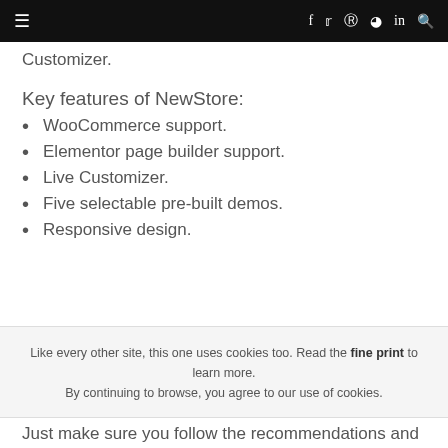≡  f  t  p  rss  in  search
Customizer.
Key features of NewStore:
WooCommerce support.
Elementor page builder support.
Live Customizer.
Five selectable pre-built demos.
Responsive design.
Like every other site, this one uses cookies too. Read the fine print to learn more. By continuing to browse, you agree to our use of cookies.
Just make sure you follow the recommendations and